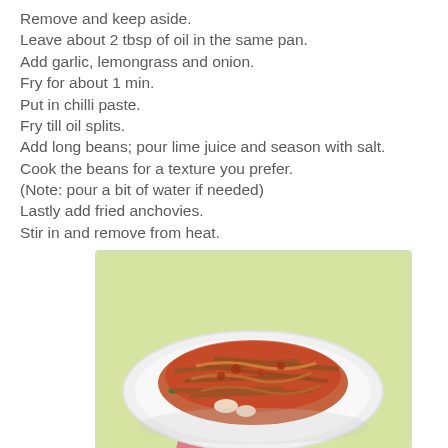Remove and keep aside.
Leave about 2 tbsp of oil in the same pan.
Add garlic, lemongrass and onion.
Fry for about 1 min.
Put in chilli paste.
Fry till oil splits.
Add long beans; pour lime juice and season with salt.
Cook the beans for a texture you prefer.
(Note: pour a bit of water if needed)
Lastly add fried anchovies.
Stir in and remove from heat.
[Figure (photo): A plate of stir-fried long beans with chilli paste and anchovies on a white plate, set against a light green background.]